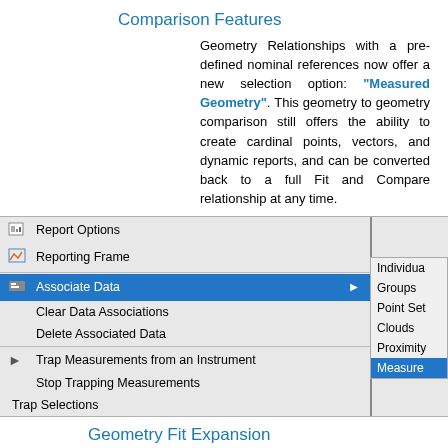Comparison Features
Geometry Relationships with a pre-defined nominal references now offer a new selection option: "Measured Geometry". This geometry to geometry comparison still offers the ability to create cardinal points, vectors, and dynamic reports, and can be converted back to a full Fit and Compare relationship at any time.
[Figure (screenshot): Context menu screenshot showing menu items: Report Options, Reporting Frame, Associate Data (highlighted in blue with submenu arrow), Clear Data Associations, Delete Associated Data, Trap Measurements from an Instrument, Stop Trapping Measurements, Trap Selections. Submenu visible on right showing: Individua..., Groups, Point Set..., Clouds, Proximity..., Measured (highlighted in blue).]
Geometry Fit Expansion
GR-Paraboloids now offer improved fit controls. This version adds the ability to constrain the fit process,